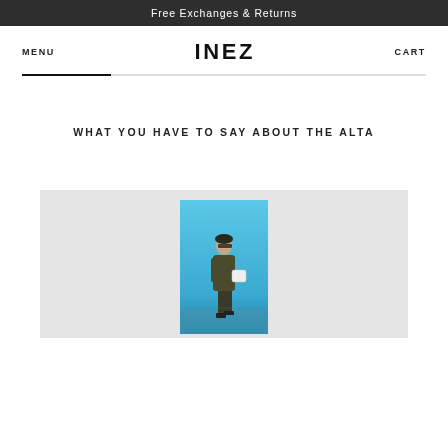Free Exchanges & Returns
MENU
INEZ
CART
WHAT YOU HAVE TO SAY ABOUT THE ALTA
[Figure (photo): A fashion photo of a woman in an olive/dark outfit holding a white bag, standing against a blue sky background, displayed on a light gray area.]